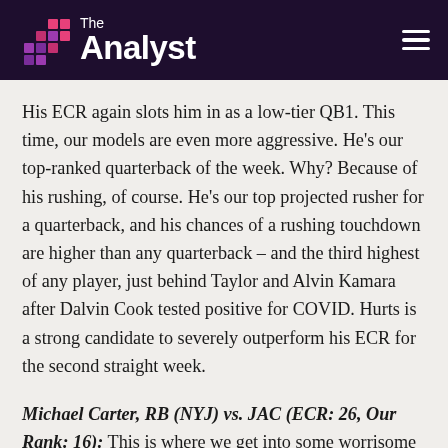The Analyst
His ECR again slots him in as a low-tier QB1. This time, our models are even more aggressive. He’s our top-ranked quarterback of the week. Why? Because of his rushing, of course. He’s our top projected rusher for a quarterback, and his chances of a rushing touchdown are higher than any quarterback – and the third highest of any player, just behind Taylor and Alvin Kamara after Dalvin Cook tested positive for COVID. Hurts is a strong candidate to severely outperform his ECR for the second straight week.
Michael Carter, RB (NYJ) vs. JAC (ECR: 26, Our Rank: 16): This is where we get into some worrisome